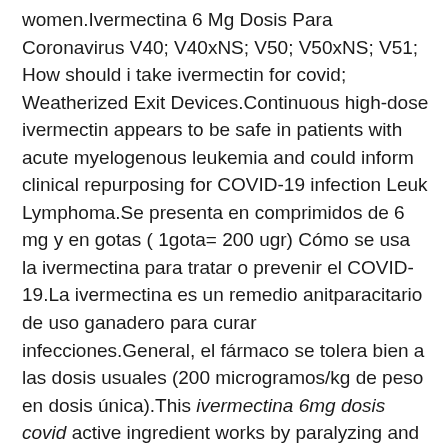women.Ivermectina 6 Mg Dosis Para Coronavirus V40; V40xNS; V50; V50xNS; V51; How should i take ivermectin for covid; Weatherized Exit Devices.Continuous high-dose ivermectin appears to be safe in patients with acute myelogenous leukemia and could inform clinical repurposing for COVID-19 infection Leuk Lymphoma.Se presenta en comprimidos de 6 mg y en gotas ( 1gota= 200 ugr) Cómo se usa la ivermectina para tratar o prevenir el COVID-19.La ivermectina es un remedio anitparacitario de uso ganadero para curar infecciones.General, el fármaco se tolera bien a las dosis usuales (200 microgramos/kg de peso en dosis única).This ivermectina 6mg dosis covid active ingredient works by paralyzing and killing heartworm (larvae) and other parasites Ivermectin prevents the development of heartworm disease in dogs and cats La efectividad del